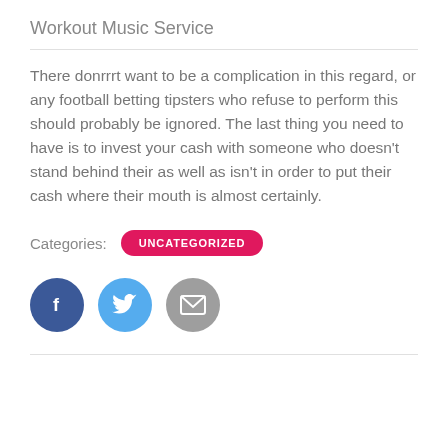Workout Music Service
There donrrrt want to be a complication in this regard, or any football betting tipsters who refuse to perform this should probably be ignored. The last thing you need to have is to invest your cash with someone who doesn't stand behind their as well as isn't in order to put their cash where their mouth is almost certainly.
Categories: UNCATEGORIZED
[Figure (other): Social media share buttons: Facebook (dark blue circle with f icon), Twitter (light blue circle with bird icon), Email (grey circle with envelope icon)]